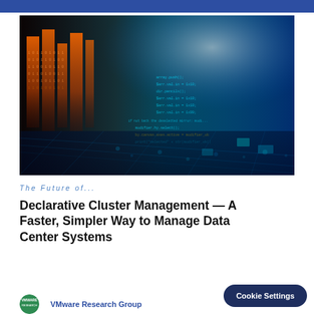[Figure (photo): Technology abstract image showing glowing orange/red data center columns on the left and blue code/circuit elements on the right with floating binary code and command-line text overlay]
The Future of...
Declarative Cluster Management — A Faster, Simpler Way to Manage Data Center Systems
VMware Research Group
Cookie Settings